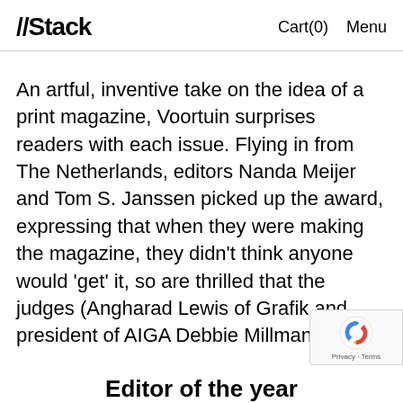//Stack   Cart(0)   Menu
An artful, inventive take on the idea of a print magazine, Voortuin surprises readers with each issue. Flying in from The Netherlands, editors Nanda Meijer and Tom S. Janssen picked up the award, expressing that when they were making the magazine, they didn't think anyone would 'get' it, so are thrilled that the judges (Angharad Lewis of Grafik and president of AIGA Debbie Millman) did.
Editor of the year
Winner: The House Reader